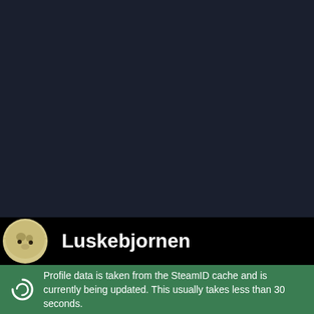[Figure (screenshot): Dark navy background area, upper portion of a Steam profile page]
Luskebjornen
Profile data is taken from the SteamID cache and is currently being updated. This usually takes less than 30 seconds.